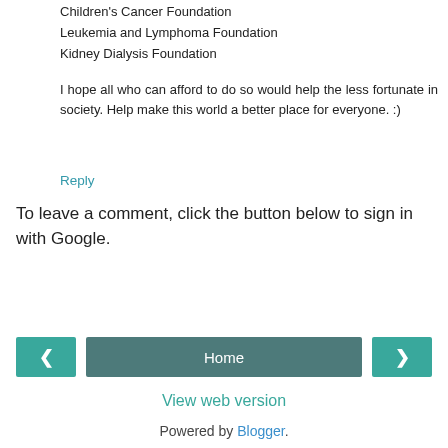Children's Cancer Foundation
Leukemia and Lymphoma Foundation
Kidney Dialysis Foundation
I hope all who can afford to do so would help the less fortunate in society. Help make this world a better place for everyone. :)
Reply
To leave a comment, click the button below to sign in with Google.
SIGN IN WITH GOOGLE
< Home >
View web version
Powered by Blogger.